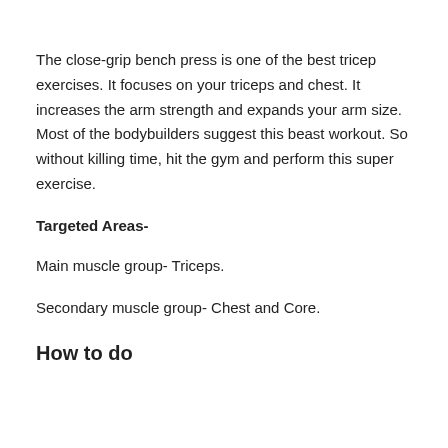The close-grip bench press is one of the best tricep exercises. It focuses on your triceps and chest. It increases the arm strength and expands your arm size. Most of the bodybuilders suggest this beast workout. So without killing time, hit the gym and perform this super exercise.
Targeted Areas-
Main muscle group- Triceps.
Secondary muscle group- Chest and Core.
How to do